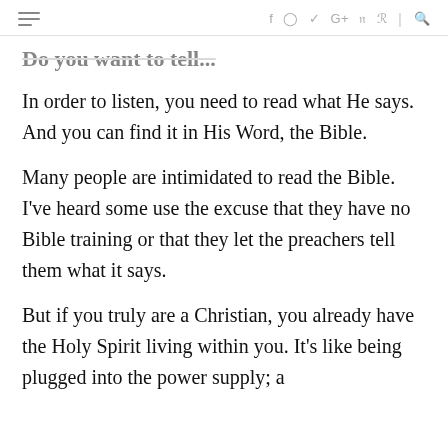≡  f  ◎  🐦  G+  ℗  ⌂  |  🔍
Do you want to tell
In order to listen, you need to read what He says. And you can find it in His Word, the Bible.
Many people are intimidated to read the Bible. I've heard some use the excuse that they have no Bible training or that they let the preachers tell them what it says.
But if you truly are a Christian, you already have the Holy Spirit living within you. It's like being plugged into the power supply; a